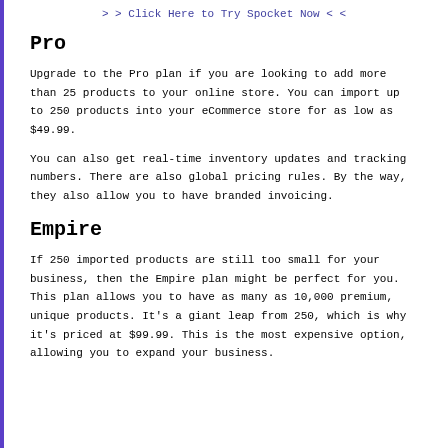>> Click Here to Try Spocket Now <<
Pro
Upgrade to the Pro plan if you are looking to add more than 25 products to your online store. You can import up to 250 products into your eCommerce store for as low as $49.99.
You can also get real-time inventory updates and tracking numbers. There are also global pricing rules. By the way, they also allow you to have branded invoicing.
Empire
If 250 imported products are still too small for your business, then the Empire plan might be perfect for you. This plan allows you to have as many as 10,000 premium, unique products. It's a giant leap from 250, which is why it's priced at $99.99. This is the most expensive option, allowing you to expand your business.